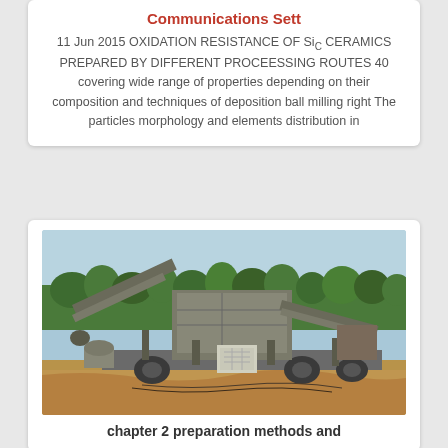Communications Sett
11 Jun 2015 OXIDATION RESISTANCE OF SiC CERAMICS PREPARED BY DIFFERENT PROCEESSING ROUTES 40 covering wide range of properties depending on their composition and techniques of deposition ball milling right The particles morphology and elements distribution in
[Figure (photo): Photograph of a large mobile mining/crushing machinery unit positioned on a dirt construction site with trees visible in the background. The machine appears to be a mobile jaw crusher or similar heavy industrial equipment on wheels/tracks.]
chapter 2 preparation methods and